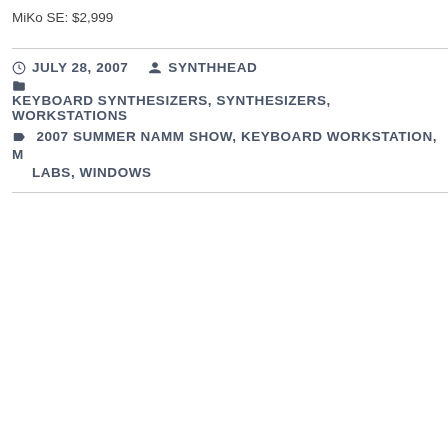MiKo SE: $2,999
JULY 28, 2007   SYNTHHEAD
KEYBOARD SYNTHESIZERS, SYNTHESIZERS, WORKSTATIONS
2007 SUMMER NAMM SHOW, KEYBOARD WORKSTATION, MIKO, MIDI LABS, WINDOWS